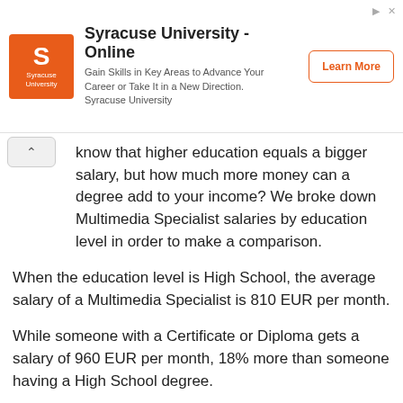[Figure (other): Syracuse University Online advertisement banner with orange logo, title 'Syracuse University - Online', description text, and 'Learn More' button]
know that higher education equals a bigger salary, but how much more money can a degree add to your income? We broke down Multimedia Specialist salaries by education level in order to make a comparison.
When the education level is High School, the average salary of a Multimedia Specialist is 810 EUR per month.
While someone with a Certificate or Diploma gets a salary of 960 EUR per month, 18% more than someone having a High School degree.